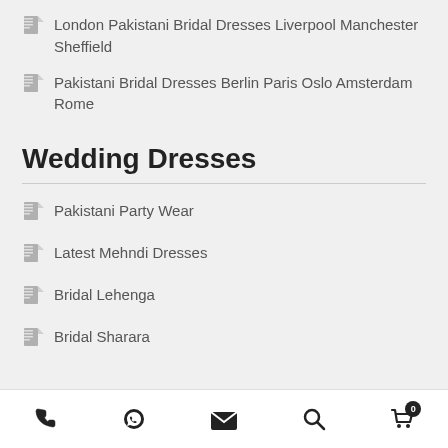London Pakistani Bridal Dresses Liverpool Manchester Sheffield
Pakistani Bridal Dresses Berlin Paris Oslo Amsterdam Rome
Wedding Dresses
Pakistani Party Wear
Latest Mehndi Dresses
Bridal Lehenga
Bridal Sharara
Phone | WhatsApp | Email | Search | Cart (0)